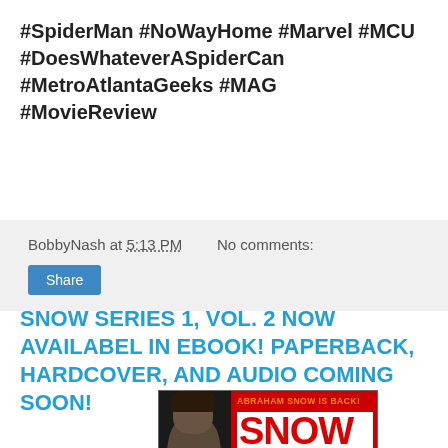#SpiderMan #NoWayHome #Marvel #MCU #DoesWhateverASpiderCan #MetroAtlantaGeeks #MAG #MovieReview
BobbyNash at 5:13 PM   No comments:
Share
SNOW SERIES 1, VOL. 2 NOW AVAILABEL IN EBOOK! PAPERBACK, HARDCOVER, AND AUDIO COMING SOON!
[Figure (photo): Book cover image for Snow Series showing 'ABRAHAM SNOW IS BACK!' text in orange/red with 'SNOW' in large red letters and a man's photo on the left side against a dark background]